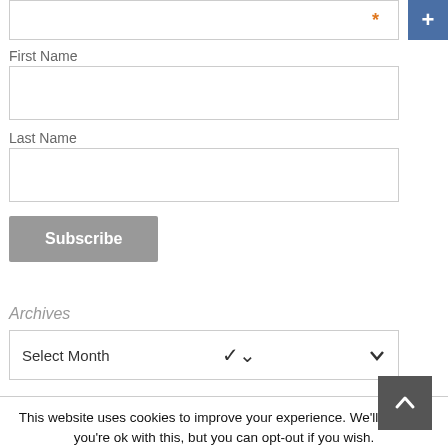* (required email field)
First Name
Last Name
Subscribe
Archives
Select Month
This website uses cookies to improve your experience. We'll assume you're ok with this, but you can opt-out if you wish.
Accept
Read More